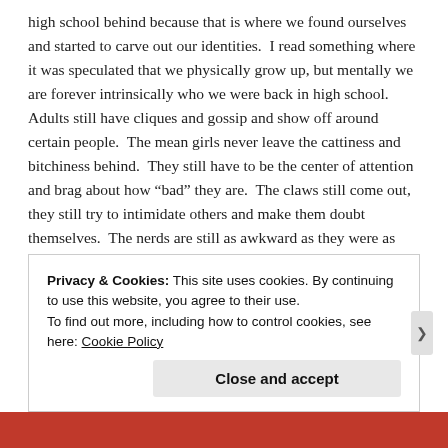high school behind because that is where we found ourselves and started to carve out our identities.  I read something where it was speculated that we physically grow up, but mentally we are forever intrinsically who we were back in high school.  Adults still have cliques and gossip and show off around certain people.  The mean girls never leave the cattiness and bitchiness behind.  They still have to be the center of attention and brag about how “bad” they are.  The claws still come out, they still try to intimidate others and make them doubt themselves.  The nerds are still as awkward as they were as teenagers.  People like me still feel like they don’t fit in with the world and that perhaps they aren’t supposed to fit in.  I have always found it strange that I can be surrounded by groups of people and still feel alone.  I’m extroverted but painfully introverted at the same time.  My
Privacy & Cookies: This site uses cookies. By continuing to use this website, you agree to their use.
To find out more, including how to control cookies, see here: Cookie Policy